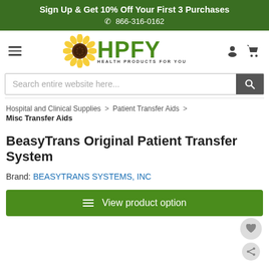Sign Up & Get 10% Off Your First 3 Purchases
☎ 866-316-0162
[Figure (logo): HPFY Health Products For You logo with sunflower icon]
Search entire website here...
Hospital and Clinical Supplies > Patient Transfer Aids > Misc Transfer Aids
BeasyTrans Original Patient Transfer System
Brand: BEASYTRANS SYSTEMS, INC
View product option